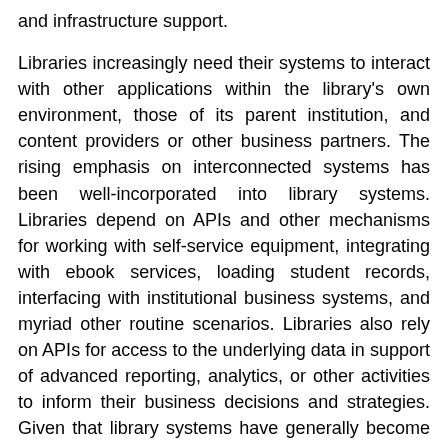and infrastructure support.
Libraries increasingly need their systems to interact with other applications within the library's own environment, those of its parent institution, and content providers or other business partners. The rising emphasis on interconnected systems has been well-incorporated into library systems. Libraries depend on APIs and other mechanisms for working with self-service equipment, integrating with ebook services, loading student records, interfacing with institutional business systems, and myriad other routine scenarios. Libraries also rely on APIs for access to the underlying data in support of advanced reporting, analytics, or other activities to inform their business decisions and strategies. Given that library systems have generally become mature in the completeness of their functionality, the availability of APIs has become an important factor of differentiation when acquiring new technology products.
The progression of computing models has had a major impact on the development of library systems. The current slate of systems includes those that have been re-engineered from existing products into current technology architectures along with new products based on present-day architectures and programming practices. Some ILSs have evolved through